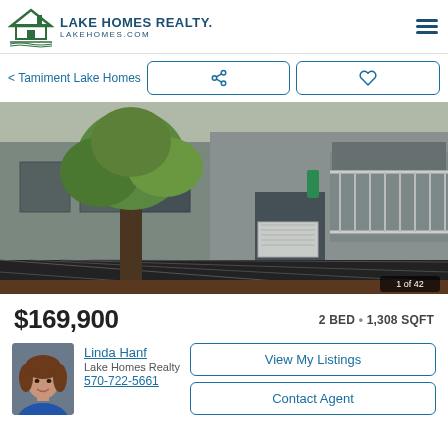Lake Homes Realty — LakeHomes.com
< Tamiment Lake Homes
[Figure (photo): Exterior photo of a lakefront vacation home with grey siding, a screened porch, wooden steps, lattice skirting, and trees in the foreground. Badge shows '1 of 42'.]
$169,900   2 BED • 1,308 SQFT
[Figure (photo): Headshot of agent Linda Hanf, a woman with brown hair wearing a blue shirt.]
Linda Hanf
Lake Homes Realty
570-722-5661
View My Listings
Contact Agent